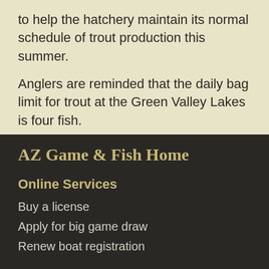to help the hatchery maintain its normal schedule of trout production this summer.
Anglers are reminded that the daily bag limit for trout at the Green Valley Lakes is four fish.
AZ Game & Fish Home
Online Services
Buy a license
Apply for big game draw
Renew boat registration